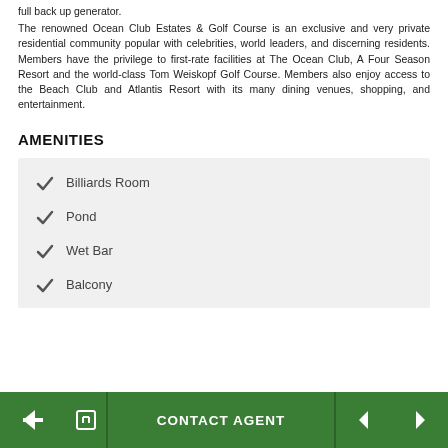full back up generator. The renowned Ocean Club Estates & Golf Course is an exclusive and very private residential community popular with celebrities, world leaders, and discerning residents. Members have the privilege to first-rate facilities at The Ocean Club, A Four Season Resort and the world-class Tom Weiskopf Golf Course. Members also enjoy access to the Beach Club and Atlantis Resort with its many dining venues, shopping, and entertainment.
AMENITIES
Billiards Room
Pond
Wet Bar
Balcony